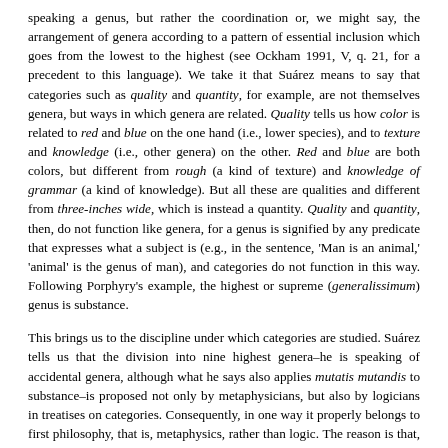speaking a genus, but rather the coordination or, we might say, the arrangement of genera according to a pattern of essential inclusion which goes from the lowest to the highest (see Ockham 1991, V, q. 21, for a precedent to this language). We take it that Suárez means to say that categories such as quality and quantity, for example, are not themselves genera, but ways in which genera are related. Quality tells us how color is related to red and blue on the one hand (i.e., lower species), and to texture and knowledge (i.e., other genera) on the other. Red and blue are both colors, but different from rough (a kind of texture) and knowledge of grammar (a kind of knowledge). But all these are qualities and different from three-inches wide, which is instead a quantity. Quality and quantity, then, do not function like genera, for a genus is signified by any predicate that expresses what a subject is (e.g., in the sentence, 'Man is an animal,' 'animal' is the genus of man), and categories do not function in this way. Following Porphyry's example, the highest or supreme (generalissimum) genus is substance.
This brings us to the discipline under which categories are studied. Suárez tells us that the division into nine highest genera–he is speaking of accidental genera, although what he says also applies mutatis mutandis to substance–is proposed not only by metaphysicians, but also by logicians in treatises on categories. Consequently, in one way it properly belongs to first philosophy, that is, metaphysics, rather than logic. The reason is that, whereas